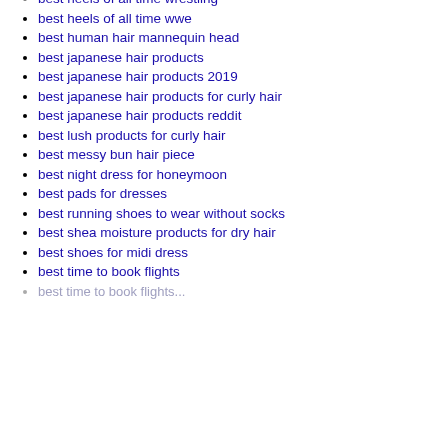best heels of all time wrestling
best heels of all time wwe
best human hair mannequin head
best japanese hair products
best japanese hair products 2019
best japanese hair products for curly hair
best japanese hair products reddit
best lush products for curly hair
best messy bun hair piece
best night dress for honeymoon
best pads for dresses
best running shoes to wear without socks
best shea moisture products for dry hair
best shoes for midi dress
best time to book flights
best time to book flights (partial)